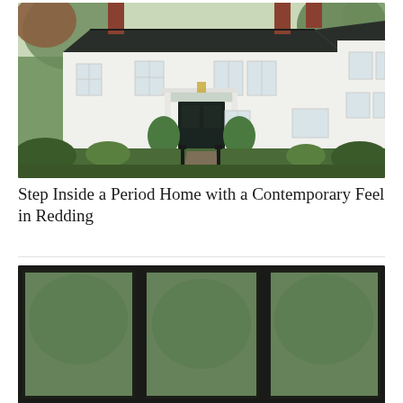[Figure (photo): Exterior of a white colonial/period style two-story home with dark metal roof, black front door with pediment entrance, flanking potted ferns, brick chimneys, and lush green landscaping in the foreground with a brick path]
Step Inside a Period Home with a Contemporary Feel in Redding
[Figure (photo): Partial view of windows or glass panels with outdoor greenery visible through them, bottom portion of page cut off]